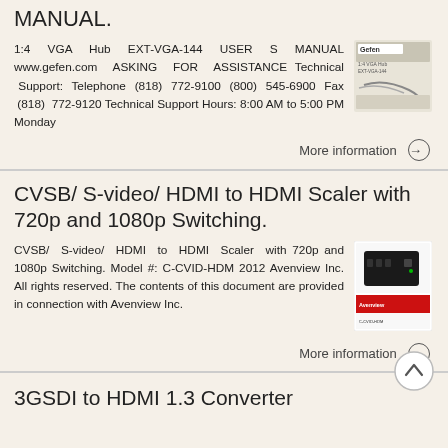MANUAL.
1:4 VGA Hub EXT-VGA-144 USER S MANUAL www.gefen.com ASKING FOR ASSISTANCE Technical Support: Telephone (818) 772-9100 (800) 545-6900 Fax (818) 772-9120 Technical Support Hours: 8:00 AM to 5:00 PM Monday
[Figure (photo): Gefen 1:4 VGA Hub product box image]
More information →
CVSB/ S-video/ HDMI to HDMI Scaler with 720p and 1080p Switching.
CVSB/ S-video/ HDMI to HDMI Scaler with 720p and 1080p Switching. Model #: C-CVID-HDM 2012 Avenview Inc. All rights reserved. The contents of this document are provided in connection with Avenview Inc.
[Figure (photo): Avenview HDMI Scaler product box image]
More information →
3GSDI to HDMI 1.3 Converter